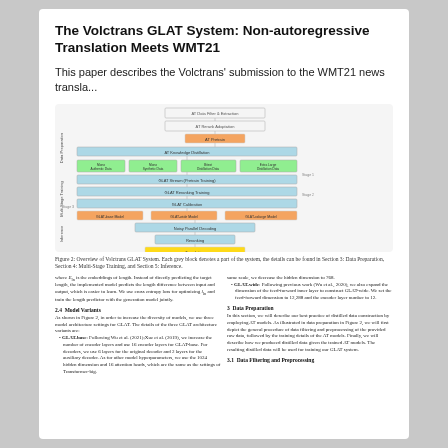The Volctrans GLAT System: Non-autoregressive Translation Meets WMT21
This paper describes the Volctrans' submission to the WMT21 news transla...
[Figure (flowchart): Overview of Volctrans GLAT System showing data preparation, multi-stage training, and inference pipeline with colored blocks for different stages including AT data construction, knowledge distillation, GLAT stream training, GLAT reranking training, GLAT calibration, and final model ensemble steps.]
Figure 2: Overview of Volctrans GLAT System. Each grey block denotes a part of the system, the details can be found in Section 3: Data Preparation, Section 4: Multi-Stage Training, and Section 5: Inference.
where E_ln is the embeddings of length. Instead of directly predicting the target length, the implemented model predicts the length difference between input and output, which is easier to learn. We use cross entropy loss for optimizing l_ln and train the length predictor with the generation model jointly.
2.4 Model Variants
As shown in Figure 2, in order to increase the diversity of models, we use three model architecture settings for GLAT. The details of the three GLAT architecture variants are:
GLAT-base: Following Wu et al. (2021);Xue et al. (2019), we increase the number of encoder layers and use 16 encoder layers for GLAT-base. For decoders, we use 6 layers for the original decoder and 2 layers for the auxiliary decoder. As for other model hyperparameters, we use the 1024 hidden dimension and 16 attention heads, which are the same as the settings of Transformer-big.
same scale, we decrease the hidden dimension to 768.
GLAT-wide: Following previous work (Wu et al., 2020), we also expand the dimension of the feed-forward inner layer to construct GLAT-wide. We set the feed-forward dimension to 12,288 and the encoder layer number to 12.
3 Data Preparation
In this section, we will describe our best practice of distilled data construction by employing AT models. As illustrated in data preparation in Figure 2, we will first depict the general procedure of data filtering and preprocessing of the provided raw data, followed by the training details of the AT models. Finally, we will describe how we produced distilled data given the trained AT models. The resulting distilled data will be used for training our GLAT system.
3.1 Data Filtering and Preprocessing